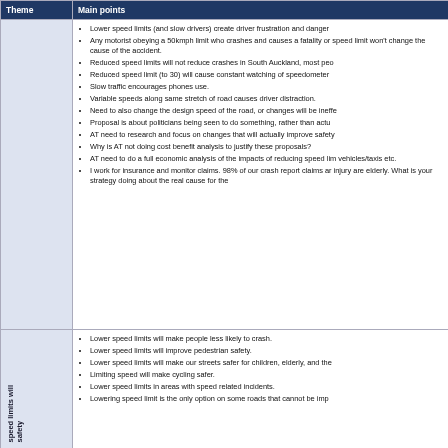| Theme | Main points |
| --- | --- |
|  | Lower speed limits (and slow drivers) create driver frustration and danger |
|  | Any motorist obeying a 50kmph limit who crashes and causes a fatality or speed limit won't change the cause of the accident. |
|  | Reduced speed limits will not reduce crashes in South Auckland, most peo |
|  | Reduced speed limit (to 30) will cause constant watching of speedometer |
|  | Slow traffic encourages phones use. |
|  | Variable speeds along same stretch of road causes driver distraction. |
|  | Need to also change the design speed of the road, or changes will be ineff |
|  | Proposal is about politicians being seen to do something, rather than actu |
|  | AT need to research and focus on changes that will actually improve safety |
|  | Why is AT not doing cost benefit analysis to justify these proposals? |
|  | AT need to do a full economic analysis of the impacts of reducing speed li vehicles/taxis etc. |
|  | I work for insurance and monitor claims. 98% of our crash report claims ar injury are elderly. What is your strategy doing about the real cause for the |
| speed limits will safety | Lower speed limits will make people less likely to crash. |
|  | Lower speed limits will improve pedestrian safety. |
|  | Lower speed limits will make our streets safer for children, elderly, and the |
|  | Limiting speed will make cycling safer. |
|  | Lower speed limits in areas with speed related incidents. |
|  | Lowering speed limit is the only option on some roads that cannot be imp |